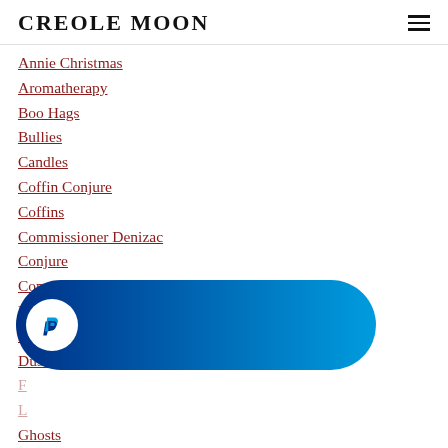CREOLE MOON
Annie Christmas
Aromatherapy
Boo Hags
Bullies
Candles
Coffin Conjure
Coffins
Commissioner Denizac
Conjure
Consecrate
Dirts
Doctrine Of Signatures
Dusts
F...
L...
Ghosts
[Figure (logo): PayPal button overlay with blue gradient pill shape and white PayPal P logo icon]